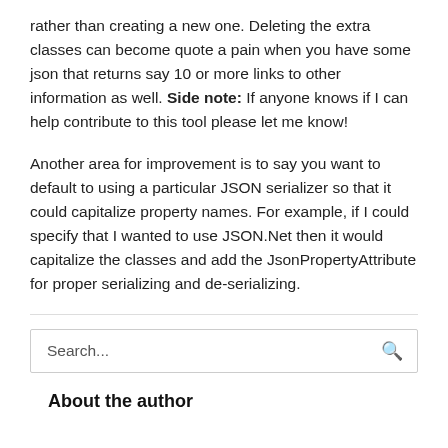rather than creating a new one. Deleting the extra classes can become quote a pain when you have some json that returns say 10 or more links to other information as well. Side note: If anyone knows if I can help contribute to this tool please let me know!
Another area for improvement is to say you want to default to using a particular JSON serializer so that it could capitalize property names. For example, if I could specify that I wanted to use JSON.Net then it would capitalize the classes and add the JsonPropertyAttribute for proper serializing and de-serializing.
Search...
About the author